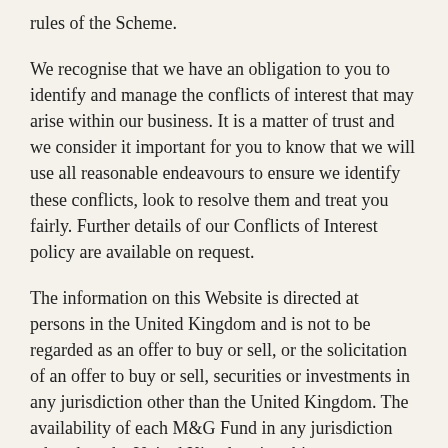rules of the Scheme.
We recognise that we have an obligation to you to identify and manage the conflicts of interest that may arise within our business. It is a matter of trust and we consider it important for you to know that we will use all reasonable endeavours to ensure we identify these conflicts, look to resolve them and treat you fairly. Further details of our Conflicts of Interest policy are available on request.
The information on this Website is directed at persons in the United Kingdom and is not to be regarded as an offer to buy or sell, or the solicitation of an offer to buy or sell, securities or investments in any jurisdiction other than the United Kingdom. The availability of each M&G Fund in any jurisdiction other than the United Kingdom is subject to restrictions set out in the prospectus for that fund. Except as set out in the relevant prospectus, the M&G Funds and shares in those funds have not been registered or approved for distribution under the laws of any jurisdiction other than the United Kingdom. Copies of the prospectus and recent annual and interim accounts for each M&G Fund